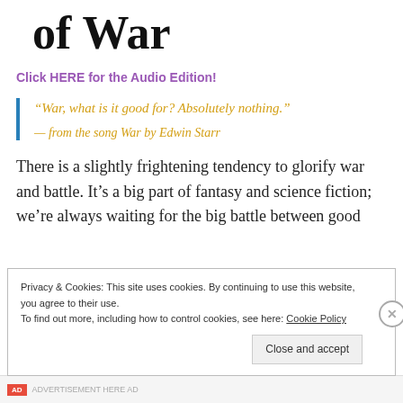of War
Click HERE for the Audio Edition!
“War, what is it good for? Absolutely nothing.”
— from the song War by Edwin Starr
There is a slightly frightening tendency to glorify war and battle. It’s a big part of fantasy and science fiction; we’re always waiting for the big battle between good
Privacy & Cookies: This site uses cookies. By continuing to use this website, you agree to their use.
To find out more, including how to control cookies, see here: Cookie Policy
Close and accept